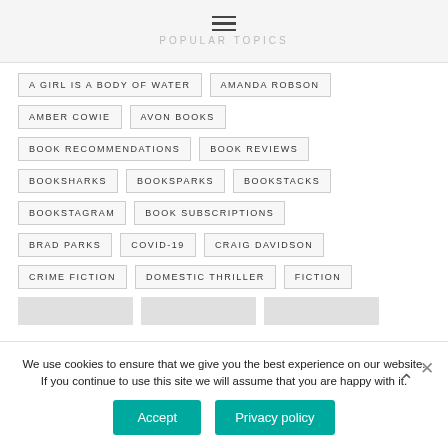POPULAR TOPICS
A GIRL IS A BODY OF WATER
AMANDA ROBSON
AMBER COWIE
AVON BOOKS
BOOK RECOMMENDATIONS
BOOK REVIEWS
BOOKSHARKS
BOOKSPARKS
BOOKSTACKS
BOOKSTAGRAM
BOOK SUBSCRIPTIONS
BRAD PARKS
COVID-19
CRAIG DAVIDSON
CRIME FICTION
DOMESTIC THRILLER
FICTION
We use cookies to ensure that we give you the best experience on our website. If you continue to use this site we will assume that you are happy with it.